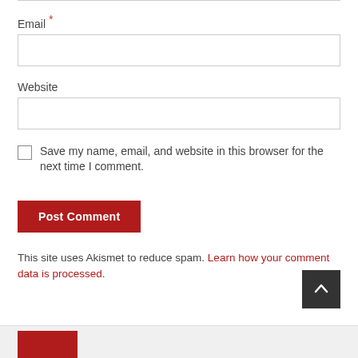Email *
Website
Save my name, email, and website in this browser for the next time I comment.
Post Comment
This site uses Akismet to reduce spam. Learn how your comment data is processed.